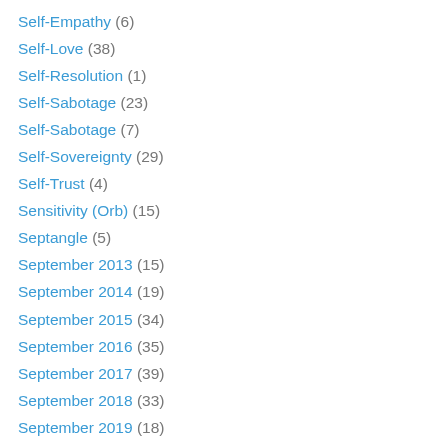Self-Empathy (6)
Self-Love (38)
Self-Resolution (1)
Self-Sabotage (23)
Self-Sabotage (7)
Self-Sovereignty (29)
Self-Trust (4)
Sensitivity (Orb) (15)
Septangle (5)
September 2013 (15)
September 2014 (19)
September 2015 (34)
September 2016 (35)
September 2017 (39)
September 2018 (33)
September 2019 (18)
September 2020 (21)
Septile Bridge (1)
Septile Fez (1)
Septile Kite (1)